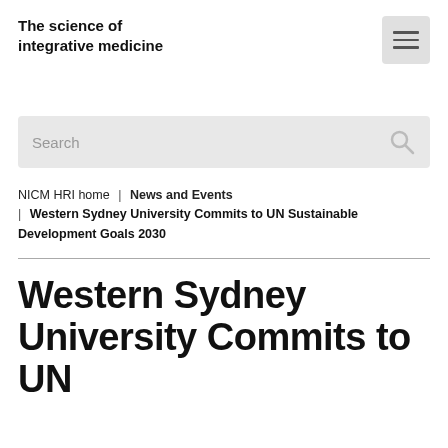The science of integrative medicine
[Figure (other): Hamburger menu icon button]
[Figure (other): Search bar with magnifying glass icon]
NICM HRI home | News and Events | Western Sydney University Commits to UN Sustainable Development Goals 2030
Western Sydney University Commits to UN